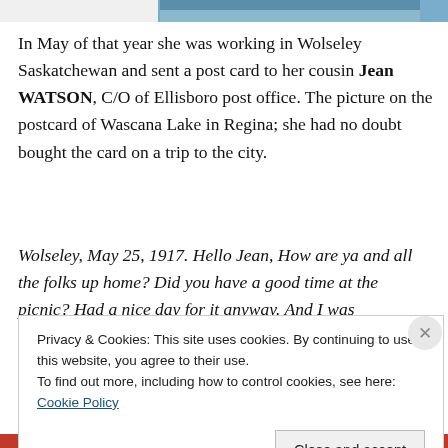[Figure (photo): Partial cropped photograph visible at top of page — shows a bird (likely a pelican) on water]
In May of that year she was working in Wolseley Saskatchewan and sent a post card to her cousin Jean WATSON, C/O of Ellisboro post office. The picture on the postcard of Wascana Lake in Regina; she had no doubt bought the card on a trip to the city.
Wolseley, May 25, 1917. Hello Jean, How are ya and all the folks up home? Did you have a good time at the picnic? Had a nice day for it anyway. And I was disappointed at not getting out there. Saw Sandy
Privacy & Cookies: This site uses cookies. By continuing to use this website, you agree to their use.
To find out more, including how to control cookies, see here: Cookie Policy
Close and accept